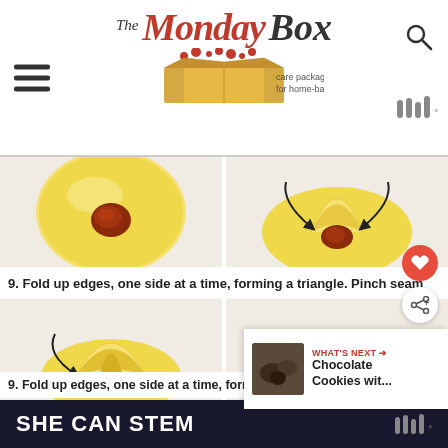[Figure (logo): The Monday Box logo with box icon and tagline 'care package recipes for home-baked love']
[Figure (photo): Four-panel step-by-step photo showing how to fold dough into a triangle (hamantaschen shaping): top-left shows round dough disc with jam filling, top-right shows one corner folded up, bottom-left shows two corners folded, bottom-right shows three corners folded with 'What's Next - Chocolate Cookies wit...' overlay]
9. Fold up edges, one side at a time, forming a triangle. Pinch seam
[Figure (logo): SHE CAN STEM advertisement banner at bottom]
[Figure (logo): Wired logo icon top right and bottom right]